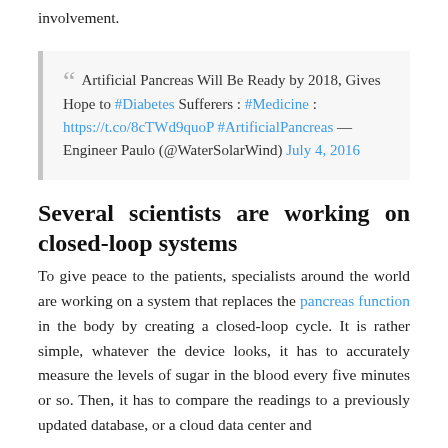involvement.
Artificial Pancreas Will Be Ready by 2018, Gives Hope to #Diabetes Sufferers : #Medicine : https://t.co/8cTWd9quoP #ArtificialPancreas — Engineer Paulo (@WaterSolarWind) July 4, 2016
Several scientists are working on closed-loop systems
To give peace to the patients, specialists around the world are working on a system that replaces the pancreas function in the body by creating a closed-loop cycle. It is rather simple, whatever the device looks, it has to accurately measure the levels of sugar in the blood every five minutes or so. Then, it has to compare the readings to a previously updated database, or a cloud data center and